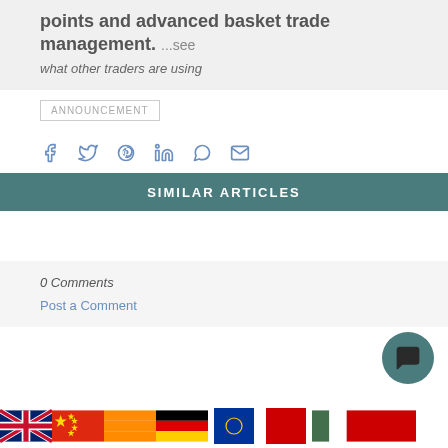points and advanced basket trade management. ...see what other traders are using
ANNOUNCEMENT
[Figure (infographic): Social sharing icons: Facebook, Twitter, Pinterest, LinkedIn, WhatsApp, Email]
SIMILAR ARTICLES
0 Comments
Post a Comment
[Figure (illustration): Chat bubble icon button in teal circle]
[Figure (infographic): Row of country flags: UK, China, unknown orange, Germany, EU, red flag, Hungary/green, red flag]